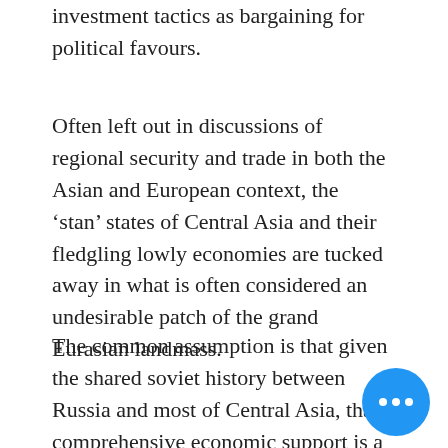investment tactics as bargaining for political favours.
Often left out in discussions of regional security and trade in both the Asian and European context, the ‘stan’ states of Central Asia and their fledgling lowly economies are tucked away in what is often considered an undesirable patch of the grand Eurasian landmass.
The common assumption is that given the shared soviet history between Russia and most of Central Asia, that comprehensive economic support is a given. However, in practice, Russia has been far more reluctant to invest in the